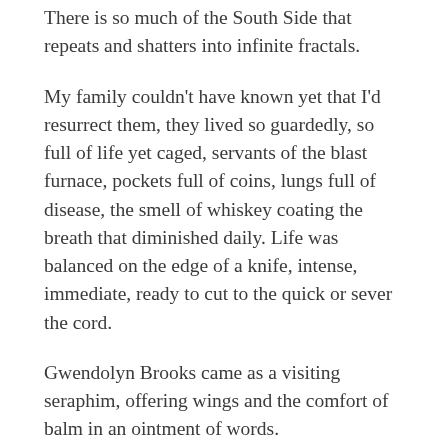There is so much of the South Side that repeats and shatters into infinite fractals.
My family couldn't have known yet that I'd resurrect them, they lived so guardedly, so full of life yet caged, servants of the blast furnace, pockets full of coins, lungs full of disease, the smell of whiskey coating the breath that diminished daily. Life was balanced on the edge of a knife, intense, immediate, ready to cut to the quick or sever the cord.
Gwendolyn Brooks came as a visiting seraphim, offering wings and the comfort of balm in an ointment of words.
One of my friends kept writing a poem entitled “Believe” but it never went beyond the title.  I